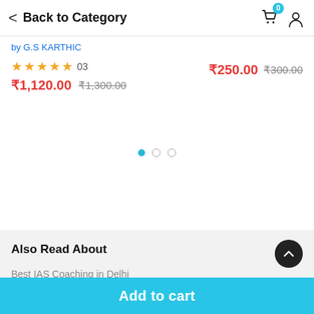< Back to Category
by G.S KARTHIC
★★★★★ 03
₹1,120.00 ₹1,300.00
₹250.00 ₹300.00
[Figure (other): Carousel pagination dots: one filled blue dot and two empty outlined dots]
Also Read About
Best IAS Coaching in Delhi
Add to cart